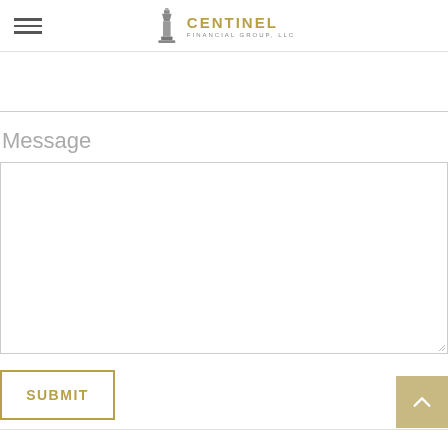Centinel Financial Group, LLC
Message
[Figure (screenshot): Contact form with a message textarea input field and a Submit button. The form includes a text input area above and a large message textarea below, with a SUBMIT button styled with a gold border.]